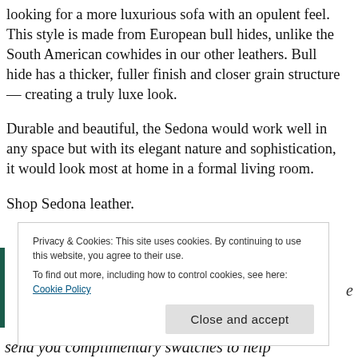looking for a more luxurious sofa with an opulent feel. This style is made from European bull hides, unlike the South American cowhides in our other leathers. Bull hide has a thicker, fuller finish and closer grain structure — creating a truly luxe look.
Durable and beautiful, the Sedona would work well in any space but with its elegant nature and sophistication, it would look most at home in a formal living room.
Shop Sedona leather.
Privacy & Cookies: This site uses cookies. By continuing to use this website, you agree to their use. To find out more, including how to control cookies, see here: Cookie Policy
Close and accept
send you complimentary swatches to help